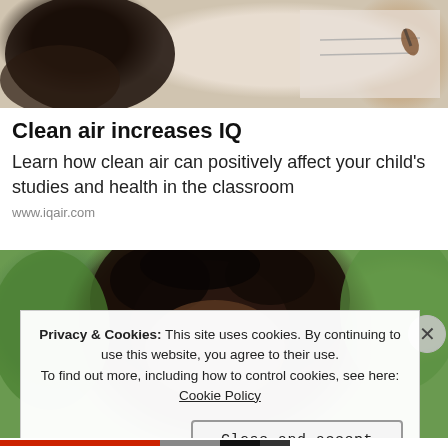[Figure (photo): Close-up photo of a child's hand writing on a whiteboard, partial view of face and arm]
Clean air increases IQ
Learn how clean air can positively affect your child's studies and health in the classroom
www.iqair.com
[Figure (photo): Close-up photo of a child with curly dark hair, blurred green background]
Privacy & Cookies: This site uses cookies. By continuing to use this website, you agree to their use.
To find out more, including how to control cookies, see here: Cookie Policy